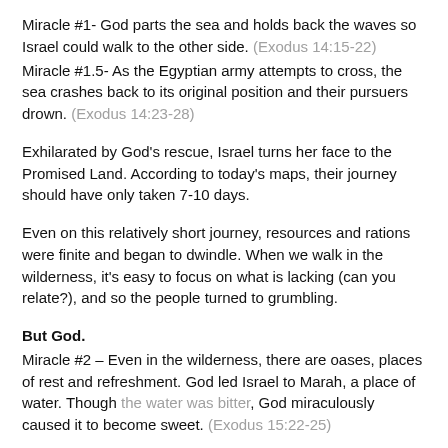Miracle #1- God parts the sea and holds back the waves so Israel could walk to the other side. (Exodus 14:15-22)
Miracle #1.5- As the Egyptian army attempts to cross, the sea crashes back to its original position and their pursuers drown. (Exodus 14:23-28)
Exhilarated by God's rescue, Israel turns her face to the Promised Land. According to today's maps, their journey should have only taken 7-10 days.
Even on this relatively short journey, resources and rations were finite and began to dwindle. When we walk in the wilderness, it's easy to focus on what is lacking (can you relate?), and so the people turned to grumbling.
But God.
Miracle #2 – Even in the wilderness, there are oases, places of rest and refreshment. God led Israel to Marah, a place of water. Though the water was bitter, God miraculously caused it to become sweet. (Exodus 15:22-25)